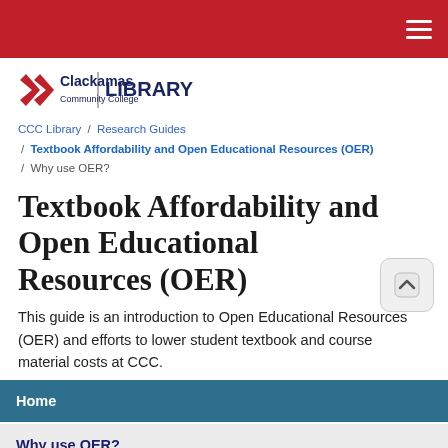Clackamas Community College Library
CCC Library / Research Guides / Textbook Affordability and Open Educational Resources (OER) / Why use OER?
Textbook Affordability and Open Educational Resources (OER)
This guide is an introduction to Open Educational Resources (OER) and efforts to lower student textbook and course material costs at CCC.
Home
Why use OER?
Using OER
Low Cost Textbooks